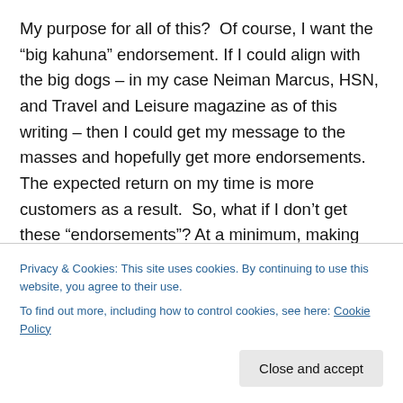My purpose for all of this?  Of course, I want the “big kahuna” endorsement. If I could align with the big dogs – in my case Neiman Marcus, HSN, and Travel and Leisure magazine as of this writing – then I could get my message to the masses and hopefully get more endorsements.  The expected return on my time is more customers as a result.  So, what if I don’t get these “endorsements”? At a minimum, making personal connections is still worthwhile. In fact, it might be the best thing I get out of my campaigning efforts.  Valuable feedback is another benefit of joining with the crowd...
Privacy & Cookies: This site uses cookies. By continuing to use this website, you agree to their use.
To find out more, including how to control cookies, see here: Cookie Policy
Close and accept